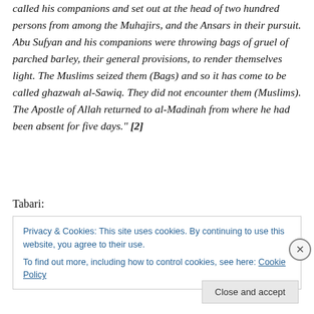called his companions and set out at the head of two hundred persons from among the Muhajirs, and the Ansars in their pursuit. Abu Sufyan and his companions were throwing bags of gruel of parched barley, their general provisions, to render themselves light. The Muslims seized them (Bags) and so it has come to be called ghazwah al-Sawiq. They did not encounter them (Muslims). The Apostle of Allah returned to al-Madinah from where he had been absent for five days." [2]
Tabari:
Privacy & Cookies: This site uses cookies. By continuing to use this website, you agree to their use.
To find out more, including how to control cookies, see here: Cookie Policy
Close and accept